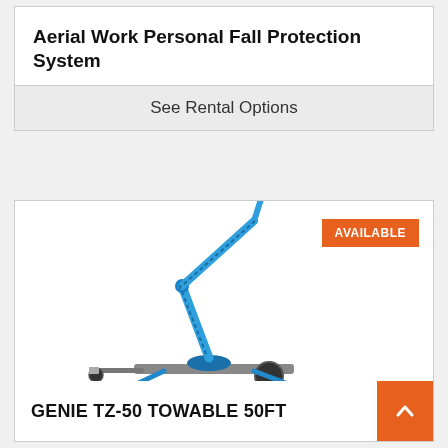Aerial Work Personal Fall Protection System
See Rental Options
[Figure (illustration): Blue Genie TZ-50 towable boom lift with articulating arm extended upward, mounted on a trailer with outriggers. Orange AVAILABLE badge in top-right corner.]
GENIE TZ-50 TOWABLE 50FT